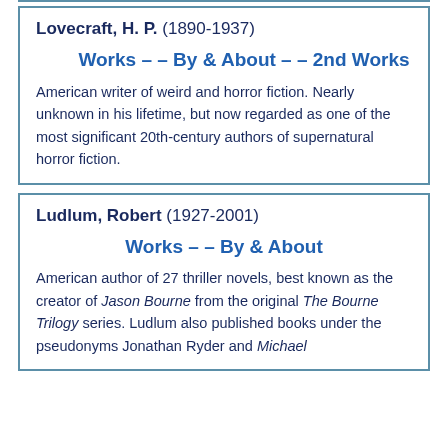Lovecraft, H. P. (1890-1937)
Works – – By & About – – 2nd Works
American writer of weird and horror fiction. Nearly unknown in his lifetime, but now regarded as one of the most significant 20th-century authors of supernatural horror fiction.
Ludlum, Robert (1927-2001)
Works – – By & About
American author of 27 thriller novels, best known as the creator of Jason Bourne from the original The Bourne Trilogy series. Ludlum also published books under the pseudonyms Jonathan Ryder and Michael